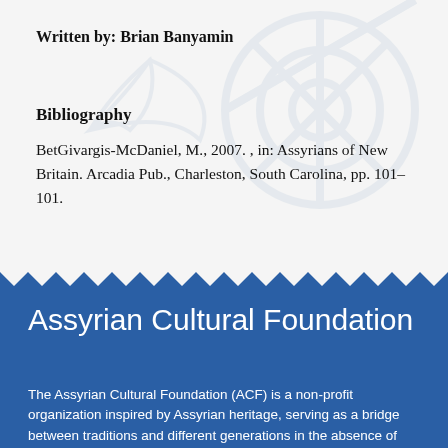Written by: Brian Banyamin
Bibliography
BetGivargis-McDaniel, M., 2007. , in: Assyrians of New Britain. Arcadia Pub., Charleston, South Carolina, pp. 101–101.
Assyrian Cultural Foundation
The Assyrian Cultural Foundation (ACF) is a non-profit organization inspired by Assyrian heritage, serving as a bridge between traditions and different generations in the absence of building...